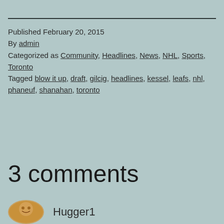Published February 20, 2015
By admin
Categorized as Community, Headlines, News, NHL, Sports, Toronto
Tagged blow it up, draft, gilcig, headlines, kessel, leafs, nhl, phaneuf, shanahan, toronto
3 comments
Hugger1